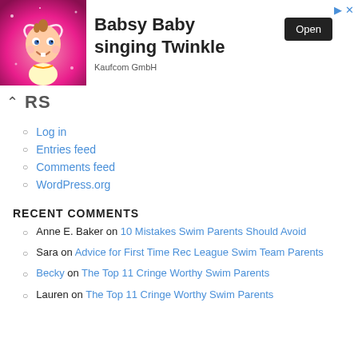[Figure (screenshot): Advertisement banner for Babsy Baby singing Twinkle app by Kaufcom GmbH, showing animated baby character on pink background with Open button.]
RS (partial navigation bar with up chevron)
Log in
Entries feed
Comments feed
WordPress.org
RECENT COMMENTS
Anne E. Baker on 10 Mistakes Swim Parents Should Avoid
Sara on Advice for First Time Rec League Swim Team Parents
Becky on The Top 11 Cringe Worthy Swim Parents
Lauren on The Top 11 Cringe Worthy Swim Parents